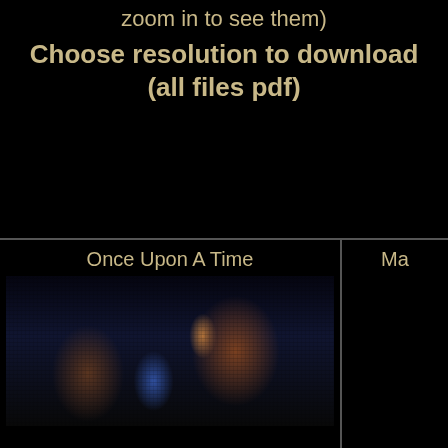zoom in to see them)
Choose resolution to download (all files pdf)
[Figure (photo): Mosaic photo titled 'Once Upon A Time' showing two figures in a dark scene, composed of many small images]
[Figure (photo): Partial mosaic photo with title starting 'Ma', showing a close-up of a face with warm tones, composed of many small images]